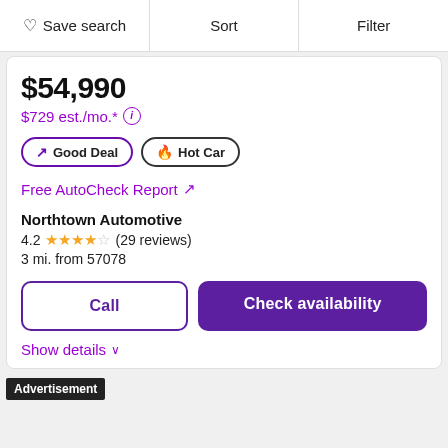Save search | Sort | Filter
$54,990
$729 est./mo.*
Good Deal | Hot Car
Free AutoCheck Report ↗
Northtown Automotive
4.2 ★★★★☆ (29 reviews)
3 mi. from 57078
Call | Check availability
Show details
Advertisement